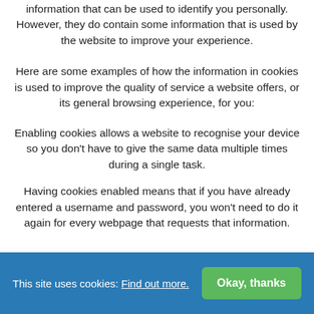information that can be used to identify you personally. However, they do contain some information that is used by the website to improve your experience.
Here are some examples of how the information in cookies is used to improve the quality of service a website offers, or its general browsing experience, for you:
Enabling cookies allows a website to recognise your device so you don't have to give the same data multiple times during a single task.
Having cookies enabled means that if you have already entered a username and password, you won't need to do it again for every webpage that requests that information.
This site uses cookies: Find out more. [Okay, thanks button]